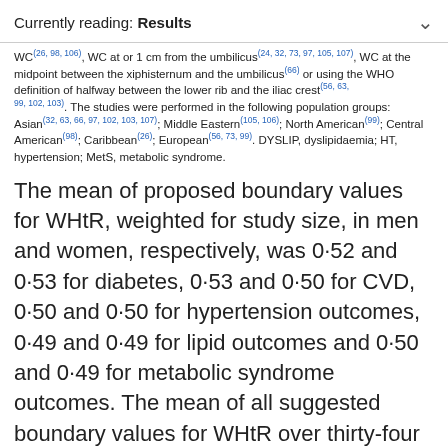Currently reading: Results
WC(26, 98, 106), WC at or 1 cm from the umbilicus(24, 32, 73, 97, 105, 107), WC at the midpoint between the xiphisternum and the umbilicus(66) or using the WHO definition of halfway between the lower rib and the iliac crest(56, 63, 99, 102, 103). The studies were performed in the following population groups: Asian(32, 63, 66, 97, 102, 103, 107); Middle Eastern(105, 106); North American(99); Central American(98); Caribbean(26); European(56, 73, 99). DYSLIP, dyslipidaemia; HT, hypertension; MetS, metabolic syndrome.
The mean of proposed boundary values for WHtR, weighted for study size, in men and women, respectively, was 0·52 and 0·53 for diabetes, 0·53 and 0·50 for CVD, 0·50 and 0·50 for hypertension outcomes, 0·49 and 0·49 for lipid outcomes and 0·50 and 0·49 for metabolic syndrome outcomes. The mean of all suggested boundary values for WHtR over thirty-four individual analyses covering all outcomes was 0·50 in men and 0·50 in women.